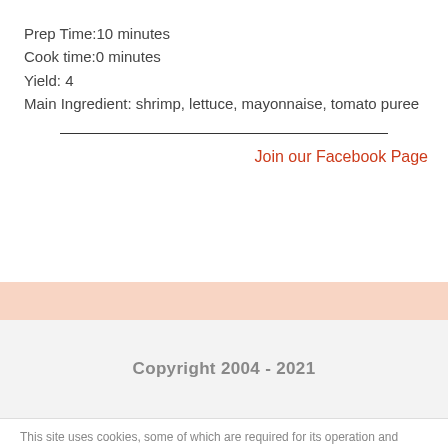Prep Time:10 minutes
Cook time:0 minutes
Yield: 4
Main Ingredient: shrimp, lettuce, mayonnaise, tomato puree
Join our Facebook Page
Copyright 2004 - 2021
This site uses cookies, some of which are required for its operation and some